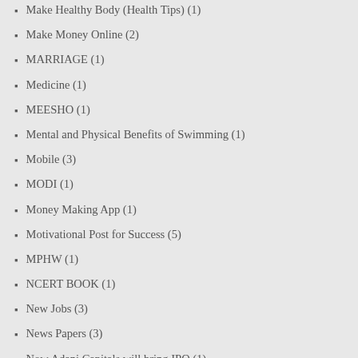Make Healthy Body (Health Tips) (1)
Make Money Online (2)
MARRIAGE (1)
Medicine (1)
MEESHO (1)
Mental and Physical Benefits of Swimming (1)
Mobile (3)
MODI (1)
Money Making App (1)
Motivational Post for Success (5)
MPHW (1)
NCERT BOOK (1)
New Jobs (3)
News Papers (3)
Now Adani Capitals will bring IPO (1)
Online Learning (1)